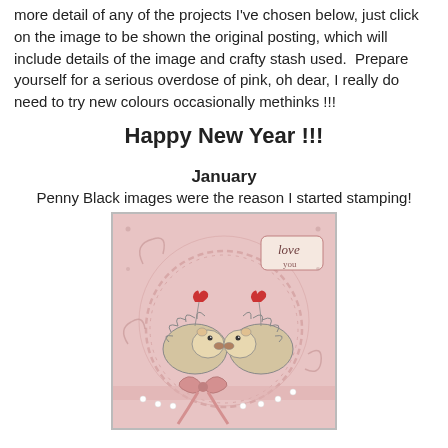more detail of any of the projects I've chosen below, just click on the image to be shown the original posting, which will include details of the image and crafty stash used.  Prepare yourself for a serious overdose of pink, oh dear, I really do need to try new colours occasionally methinks !!!
Happy New Year !!!
January
Penny Black images were the reason I started stamping!
[Figure (photo): A handmade greeting card on pink paper featuring two hedgehogs facing each other, each holding a red heart balloon. The card has a doily-like circular border, pink swirling background, a 'love you' tag in the upper right, a pink satin ribbon bow at the bottom, and pearl embellishments.]